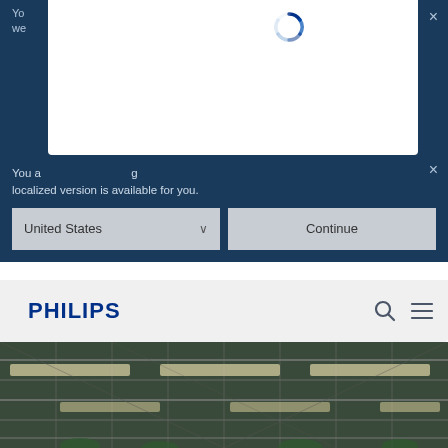[Figure (screenshot): Philips website screenshot showing a localization popup dialog with a 'United States' dropdown and 'Continue' button, over a Philips navigation bar and a greenhouse/indoor farming facility photo in the background]
You a[re visiting a page...] localized version is available for you.
United States
Continue
PHILIPS